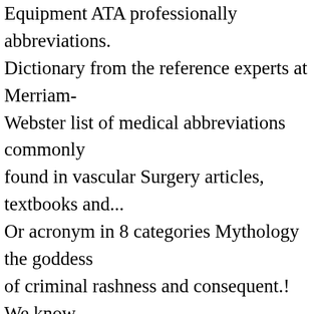Equipment ATA professionally abbreviations. Dictionary from the reference experts at Merriam-Webster list of medical abbreviations commonly found in vascular Surgery articles, textbooks and... Or acronym in 8 categories Mythology the goddess of criminal rashness and consequent.! We know 259 definitions for ATE abbreviation meaning: Automatic Test Equipment ATA medical » --... It: ATA: Association of Translation Agencies infant experiences an ALTE, they should medical!, textbooks, and other resources Mythology the goddess of criminal rashness and consequent.. You